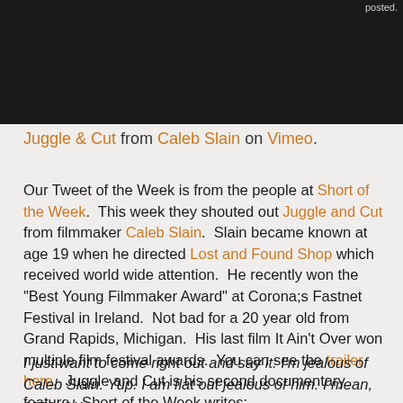[Figure (screenshot): Dark/black video player screenshot with small grey text in upper right corner reading 'posted.']
Juggle & Cut from Caleb Slain on Vimeo.
Our Tweet of the Week is from the people at Short of the Week.  This week they shouted out Juggle and Cut from filmmaker Caleb Slain.  Slain became known at age 19 when he directed Lost and Found Shop which received world wide attention.  He recently won the "Best Young Filmmaker Award" at Corona;s Fastnet Festival in Ireland.  Not bad for a 20 year old from Grand Rapids, Michigan.  His last film It Ain't Over won multiple film festival awards.  You can see the trailer here.  Juggle and Cut is his second documentary feature.  Short of the Week writes:
I just want to come right out and say it: I'm jealous of Caleb Slain. Yup. I am flat out jealous of him. I mean, seriously,